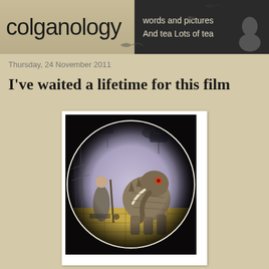colganology — words and pictures And tea Lots of tea
Thursday, 24 November 2011
I've waited a lifetime for this film
[Figure (illustration): Fantasy/steampunk illustration showing a mechanical elephant creature on a yellow tiled ground, with a robed figure nearby and floating airship structures in a purple-tinted sky background, viewed through a circular vignette frame.]